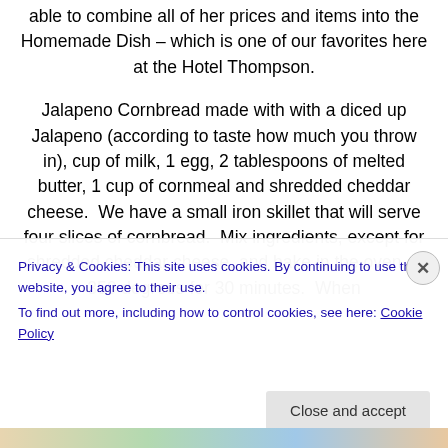able to combine all of her prices and items into the Homemade Dish – which is one of our favorites here at the Hotel Thompson.
Jalapeno Cornbread made with with a diced up Jalapeno (according to taste how much you throw in), cup of milk, 1 egg, 2 tablespoons of melted butter, 1 cup of cornmeal and shredded cheddar cheese.  We have a small iron skillet that will serve four slices of cornbread.  Mix ingredients, except for shredded cheddar cheese, and bake in the oven at 350 degrees for 30 minutes.  When
Privacy & Cookies: This site uses cookies. By continuing to use this website, you agree to their use.
To find out more, including how to control cookies, see here: Cookie Policy
Close and accept